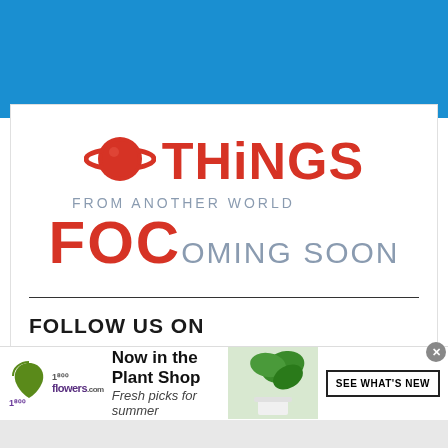[Figure (logo): Blue header background bar]
[Figure (logo): Things From Another World logo with planet icon and text, FOC COMING SOON below]
FOLLOW US ON
[Figure (infographic): 1-800-flowers.com advertisement banner: Now in the Plant Shop, Fresh picks for summer, SEE WHAT'S NEW button, plant photo]